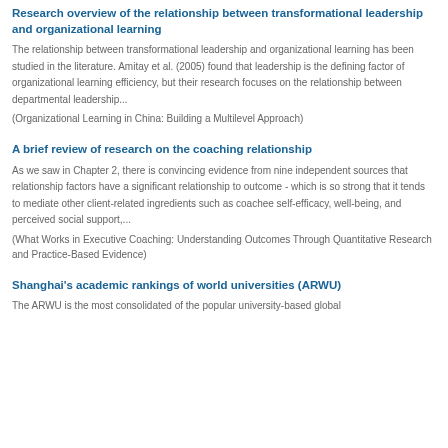Research overview of the relationship between transformational leadership and organizational learning
The relationship between transformational leadership and organizational learning has been studied in the literature. Amitay et al. (2005) found that leadership is the defining factor of organizational learning efficiency, but their research focuses on the relationship between departmental leadership...
(Organizational Learning in China: Building a Multilevel Approach)
A brief review of research on the coaching relationship
As we saw in Chapter 2, there is convincing evidence from nine independent sources that relationship factors have a significant relationship to outcome - which is so strong that it tends to mediate other client-related ingredients such as coachee self-efficacy, well-being, and perceived social support,...
(What Works in Executive Coaching: Understanding Outcomes Through Quantitative Research and Practice-Based Evidence)
Shanghai's academic rankings of world universities (ARWU)
The ARWU is the most consolidated of the popular university-based global